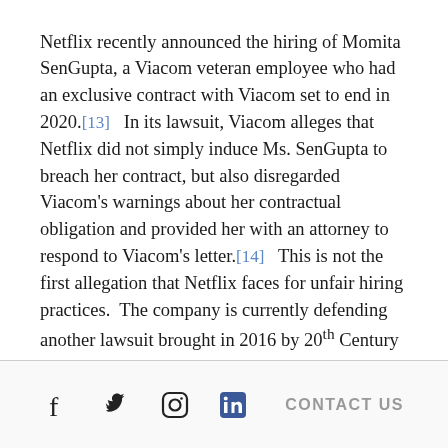Netflix recently announced the hiring of Momita SenGupta, a Viacom veteran employee who had an exclusive contract with Viacom set to end in 2020.[13]  In its lawsuit, Viacom alleges that Netflix did not simply induce Ms. SenGupta to breach her contract, but also disregarded Viacom's warnings about her contractual obligation and provided her with an attorney to respond to Viacom's letter.[14]  This is not the first allegation that Netflix faces for unfair hiring practices.  The company is currently defending another lawsuit brought in 2016 by 20th Century Fox Film Corporation over the poaching of two of its executives.[15]  Netflix's defense is based on
Social icons: Facebook, Twitter, Instagram, LinkedIn | CONTACT US